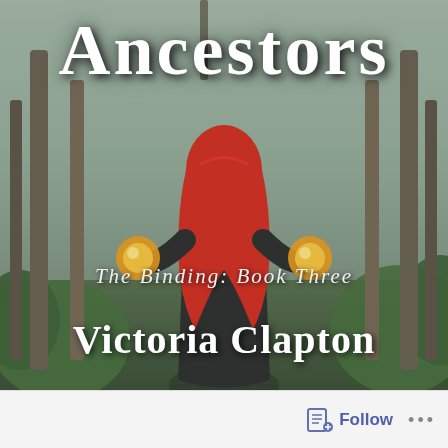[Figure (illustration): Book cover for 'Ancestors: The Binding: Book Three' by Victoria Clapton. A woman with long red hair, wearing a dark coat, stands with her back to the viewer in a misty forest, holding glowing golden orbs in each hand. White decorative text overlays the image.]
Ancestors
The Binding: Book Three
Victoria Clapton
Follow ...